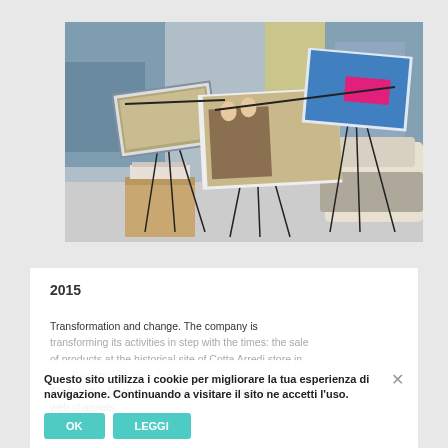[Figure (photo): Interior photo of a modern showroom or gallery space with music stands or display stands holding large format printed images/books, a wooden cube side table with papers on top, and a cream sofa with grey blankets. Large floor-to-ceiling windows in the background.]
2015
Transformation and change. The company is transforming its activities in step with the times: the sale of products at the historical site of Cotta Arredi store in San Giuliano Vecchio. The design in the new space of Alessandria Cristina Colla Atelier. Boosting sales on web channels.
Questo sito utilizza i cookie per migliorare la tua esperienza di navigazione. Continuando a visitare il sito ne accetti l'uso.